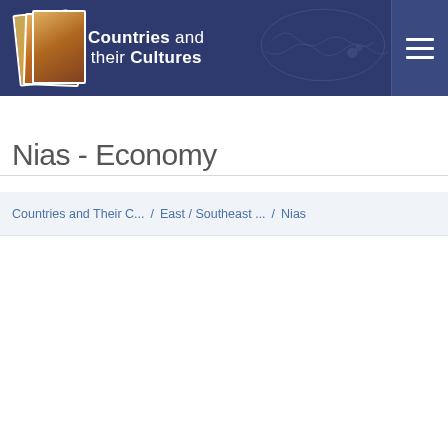Countries and their Cultures
Countries and Their C... / East / Southeast ... / Nias
Nias - Economy